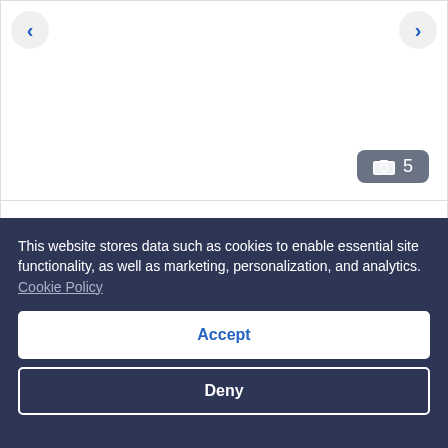[Figure (photo): Hotel room image carousel with navigation arrows and photo count badge showing 5 photos]
Junior Suite (2 adults + 2 children)
592 sq ft
Sleeps 4
1 King Bed and 1 Double Sofa Bed
More details >
This website stores data such as cookies to enable essential site functionality, as well as marketing, personalization, and analytics. Cookie Policy
Accept
Deny